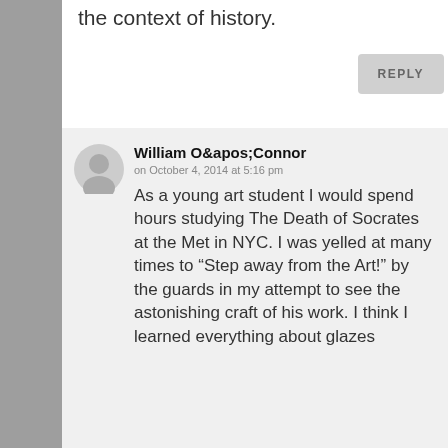the context of history.
REPLY
William O&apos;Connor
on October 4, 2014 at 5:16 pm
As a young art student I would spend hours studying The Death of Socrates at the Met in NYC. I was yelled at many times to “Step away from the Art!” by the guards in my attempt to see the astonishing craft of his work. I think I learned everything about glazes